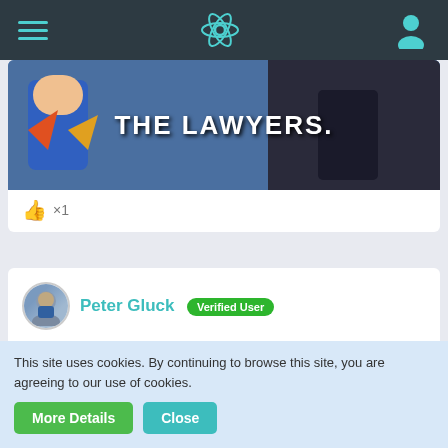Navigation bar with hamburger menu, atom logo, and user icon
[Figure (screenshot): Meme image with text 'THE LAWYERS.' overlaid on cartoon background]
👍 ×1
Peter Gluck  Verified User
Aug 4th 2016
REad please my Ego Out editorial of yesterday and of today )coming soon) and make your bets:
- total war
- just gain a bit of time
For the second variant the formulation will be as fuzzy as in the Dismiss document.
This site uses cookies. By continuing to browse this site, you are agreeing to our use of cookies.